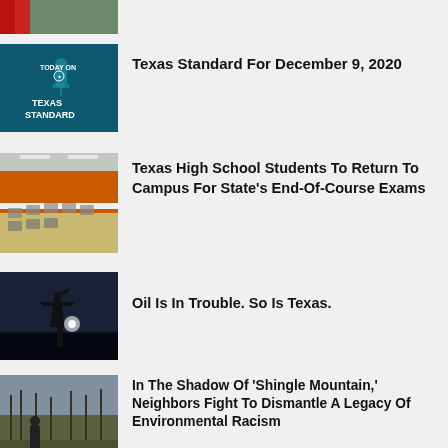[Figure (photo): Partial photo at top, cropped (red shirt visible)]
[Figure (photo): Today On Texas Standard teal graphic with microphone]
Texas Standard For December 9, 2020
[Figure (photo): Empty classroom with desks, orange and white walls]
Texas High School Students To Return To Campus For State's End-Of-Course Exams
[Figure (photo): Oil pump jack silhouette at night with light flare]
Oil Is In Trouble. So Is Texas.
[Figure (photo): Person standing in wooded area with bare trees]
In The Shadow Of 'Shingle Mountain,' Neighbors Fight To Dismantle A Legacy Of Environmental Racism